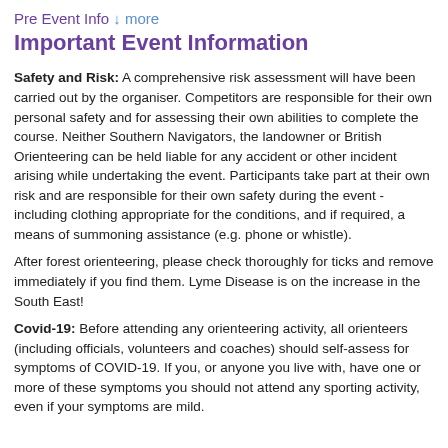Pre Event Info ↓ more
Important Event Information
Safety and Risk: A comprehensive risk assessment will have been carried out by the organiser. Competitors are responsible for their own personal safety and for assessing their own abilities to complete the course. Neither Southern Navigators, the landowner or British Orienteering can be held liable for any accident or other incident arising while undertaking the event. Participants take part at their own risk and are responsible for their own safety during the event - including clothing appropriate for the conditions, and if required, a means of summoning assistance (e.g. phone or whistle).
After forest orienteering, please check thoroughly for ticks and remove immediately if you find them. Lyme Disease is on the increase in the South East!
Covid-19: Before attending any orienteering activity, all orienteers (including officials, volunteers and coaches) should self-assess for symptoms of COVID-19. If you, or anyone you live with, have one or more of these symptoms you should not attend any sporting activity, even if your symptoms are mild.